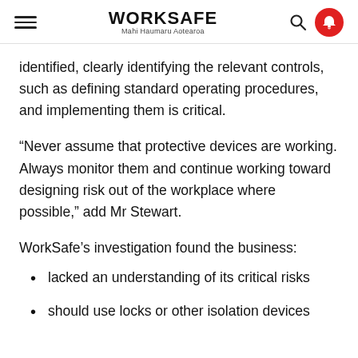WORKSAFE Mahi Haumaru Aotearoa
identified, clearly identifying the relevant controls, such as defining standard operating procedures, and implementing them is critical.
“Never assume that protective devices are working. Always monitor them and continue working toward designing risk out of the workplace where possible,” add Mr Stewart.
WorkSafe’s investigation found the business:
lacked an understanding of its critical risks
should use locks or other isolation devices